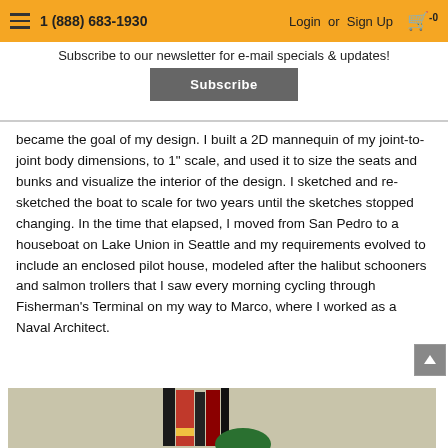1 (888) 683-1930  Login or Sign Up  [cart: 0]
Subscribe to our newsletter for e-mail specials & updates!
Subscribe
became the goal of my design. I built a 2D mannequin of my joint-to-joint body dimensions, to 1" scale, and used it to size the seats and bunks and visualize the interior of the design. I sketched and re-sketched the boat to scale for two years until the sketches stopped changing. In the time that elapsed, I moved from San Pedro to a houseboat on Lake Union in Seattle and my requirements evolved to include an enclosed pilot house, modeled after the halibut schooners and salmon trollers that I saw every morning cycling through Fisherman's Terminal on my way to Marco, where I worked as a Naval Architect.
[Figure (photo): Photo of books and a green circular object on a beige/tan background]